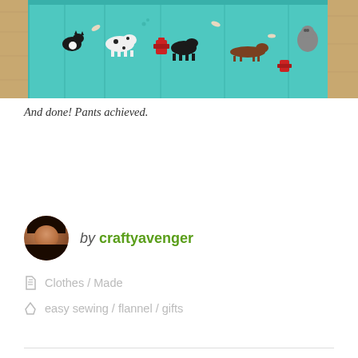[Figure (photo): Close-up photo of teal/turquoise fabric with dog print pattern (various dog breeds, fire hydrants, bones) laid flat on a wooden surface with blue mat visible at edges. The fabric appears to be pants that have been sewn.]
And done! Pants achieved.
by craftyavenger
Clothes / Made
easy sewing / flannel / gifts